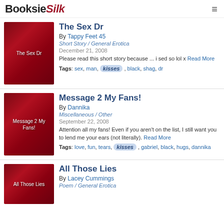BooksieSilk
The Sex Dr
By Tappy Feet 45
Short Story / General Erotica
December 21, 2008
Please read this short story because ... i sed so lol x Read More
Tags: sex, man, kisses, black, shag, dr
Message 2 My Fans!
By Dannika
Miscellaneous / Other
September 22, 2008
Attention all my fans! Even if you aren't on the list, I still want you to lend me your ears (not literally). Read More
Tags: love, fun, tears, kisses, gabriel, black, hugs, dannika
All Those Lies
By Lacey Cummings
Poem / General Erotica